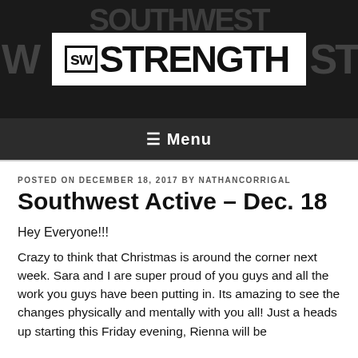[Figure (logo): Southwest Strength logo: bold white box with 'sw STRENGTH' in large black condensed font on dark/black background with large distressed lettering behind]
☰ Menu
POSTED ON DECEMBER 18, 2017 BY NATHANCORRIGAL
Southwest Active – Dec. 18
Hey Everyone!!!
Crazy to think that Christmas is around the corner next week. Sara and I are super proud of you guys and all the work you guys have been putting in. Its amazing to see the changes physically and mentally with you all! Just a heads up starting this Friday evening, Rienna will be